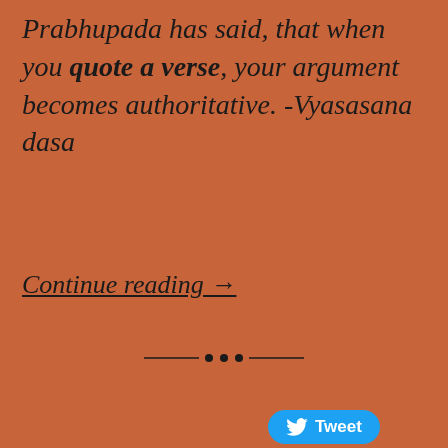Prabhupada has said, that when you quote a verse, your argument becomes authoritative. -Vyasasana dasa
Continue reading →
[Figure (other): Twitter Tweet button with bird logo]
[Figure (other): Decorative horizontal divider with dots in the center]